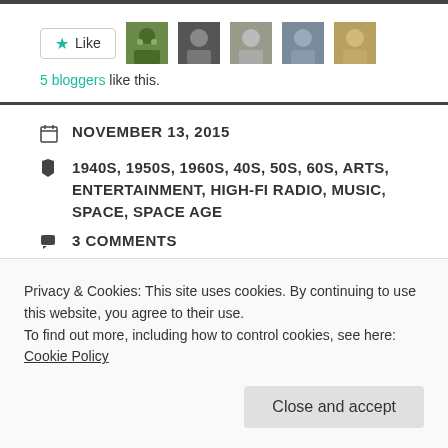[Figure (other): Like button with star icon and 5 user avatar thumbnails]
5 bloggers like this.
NOVEMBER 13, 2015
1940S, 1950S, 1960S, 40S, 50S, 60S, ARTS, ENTERTAINMENT, HIGH-FI RADIO, MUSIC, SPACE, SPACE AGE
3 COMMENTS
FRANK TINSLEY: CONCERT
Privacy & Cookies: This site uses cookies. By continuing to use this website, you agree to their use.
To find out more, including how to control cookies, see here: Cookie Policy